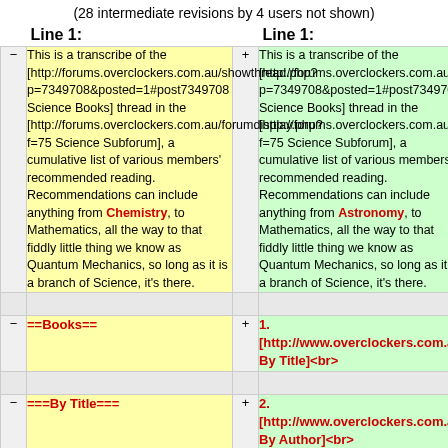(28 intermediate revisions by 4 users not shown)
| Line 1: | Line 1: |
| --- | --- |
| This is a transcribe of the [http://forums.overclockers.com.au/showthread.php?p=7349708&posted=1#post7349708 Science Books] thread in the [http://forums.overclockers.com.au/forumdisplay.php?f=75 Science Subforum], a cumulative list of various members' recommended reading.  Recommendations can include anything from Chemistry, to Mathematics, all the way to that fiddly little thing we know as Quantum Mechanics, so long as it is a branch of Science, it's there. | This is a transcribe of the [http://forums.overclockers.com.au/showthread.php?p=7349708&posted=1#post7349708 Science Books] thread in the [http://forums.overclockers.com.au/forumdisplay.php?f=75 Science Subforum], a cumulative list of various members' recommended reading.  Recommendations can include anything from Astronomy, to Mathematics, all the way to that fiddly little thing we know as Quantum Mechanics, so long as it is a branch of Science, it's there. |
| (empty) | (empty) |
| ==Books== | 1. [http://www.overclockers.com.au/wiki/Science_Books#By_Title By Title]<br> |
| (empty) | (empty) |
| ===By Title=== | 2. [http://www.overclockers.com.au/wiki/Science_Books#By_Author By Author]<br> |